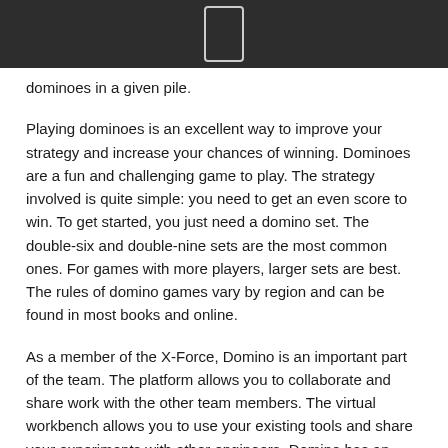[Figure (other): Dark header bar with a small rectangular icon/button in the center]
dominoes in a given pile.
Playing dominoes is an excellent way to improve your strategy and increase your chances of winning. Dominoes are a fun and challenging game to play. The strategy involved is quite simple: you need to get an even score to win. To get started, you just need a domino set. The double-six and double-nine sets are the most common ones. For games with more players, larger sets are best. The rules of domino games vary by region and can be found in most books and online.
As a member of the X-Force, Domino is an important part of the team. The platform allows you to collaborate and share work with the other team members. The virtual workbench allows you to use your existing tools and share your experiments with other engineers. Domino has an extensive library of examples to learn from. Whether you're looking to